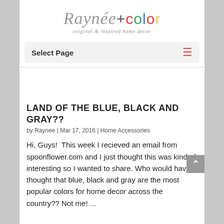[Figure (logo): Raynée+color logo with script font for Raynée and colorful letters for 'color', tagline reads 'original & inspired home decor']
Select Page
LAND OF THE BLUE, BLACK AND GRAY??
by Raynee | Mar 17, 2016 | Home Accessories
Hi, Guys!  This week I recieved an email from spoonflower.com and I just thought this was kind of interesting so I wanted to share. Who would have thought that blue, black and gray are the most popular colors for home decor across the country?? Not me! ...